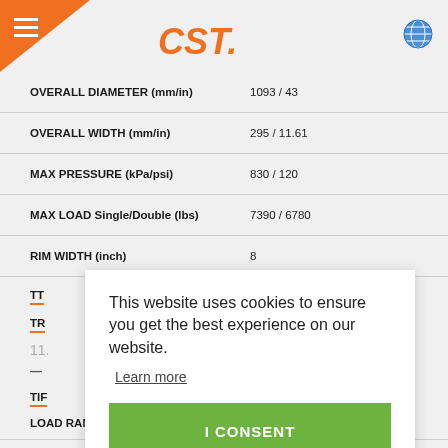[Figure (logo): CST brand logo in orange italic bold font with hamburger menu icon and globe icon in header]
| Specification | Value |
| --- | --- |
| OVERALL DIAMETER (mm/in) | 1093 / 43 |
| OVERALL WIDTH (mm/in) | 295 / 11.61 |
| MAX PRESSURE (kPa/psi) | 830 / 120 |
| MAX LOAD Single/Double (lbs) | 7390 / 6780 |
| RIM WIDTH (inch) | 8 |
| TT |  |
| TR |  |
| 11. |  |
| TIF |  |
| LOAD RANGE | H |
This website uses cookies to ensure you get the best experience on our website.
Learn more
I CONSENT